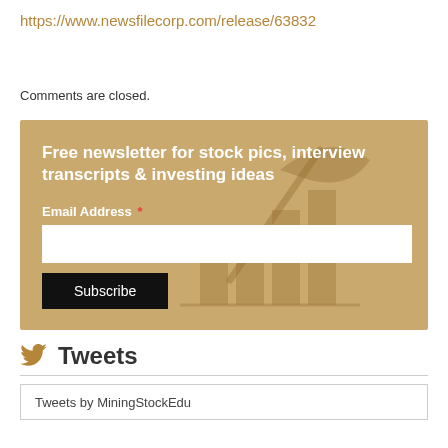https://www.newsfilecorp.com/release/63832
Comments are closed.
[Figure (other): Newsletter signup box with golden/tan background featuring a pickaxe and bar chart watermark. Contains text 'Free newsletter for stock pics, interview transcripts & investing ideas', an Email Address field, and a Subscribe button.]
Tweets
Tweets by MiningStockEdu